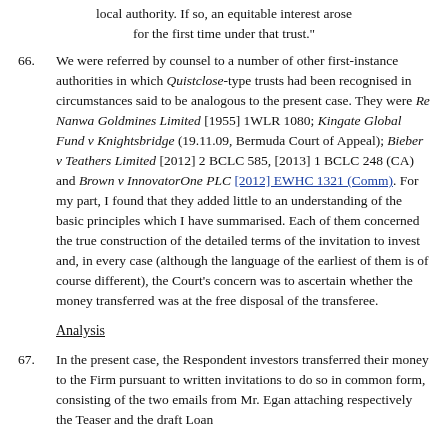local authority. If so, an equitable interest arose for the first time under that trust."
66. We were referred by counsel to a number of other first-instance authorities in which Quistclose-type trusts had been recognised in circumstances said to be analogous to the present case. They were Re Nanwa Goldmines Limited [1955] 1WLR 1080; Kingate Global Fund v Knightsbridge (19.11.09, Bermuda Court of Appeal); Bieber v Teathers Limited [2012] 2 BCLC 585, [2013] 1 BCLC 248 (CA) and Brown v InnovatorOne PLC [2012] EWHC 1321 (Comm). For my part, I found that they added little to an understanding of the basic principles which I have summarised. Each of them concerned the true construction of the detailed terms of the invitation to invest and, in every case (although the language of the earliest of them is of course different), the Court's concern was to ascertain whether the money transferred was at the free disposal of the transferee.
Analysis
67. In the present case, the Respondent investors transferred their money to the Firm pursuant to written invitations to do so in common form, consisting of the two emails from Mr. Egan attaching respectively the Teaser and the draft Loan